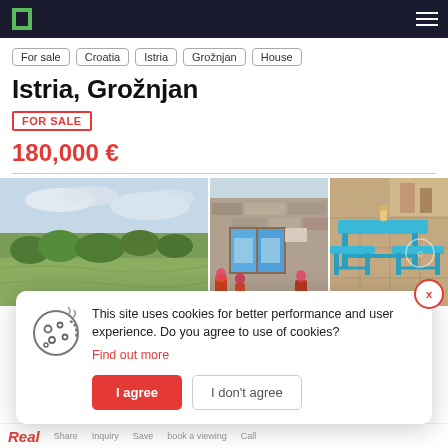For sale
Croatia
Istria
Grožnjan
House
Istria, Grožnjan
FOR SALE
180,000 €
[Figure (photo): Landscape photo of Istrian countryside with green trees and fields under a cloudy sky]
[Figure (photo): Photo of a stone house exterior with blue shutters and flower pots]
[Figure (photo): Photo of turquoise/blue painted wooden outdoor furniture - table and benches]
This site uses cookies for better performance and user experience. Do you agree to use of cookies? Find out more
I agree
I don't agree
Real  Share  Inquiry  Save  Book a viewing  Call